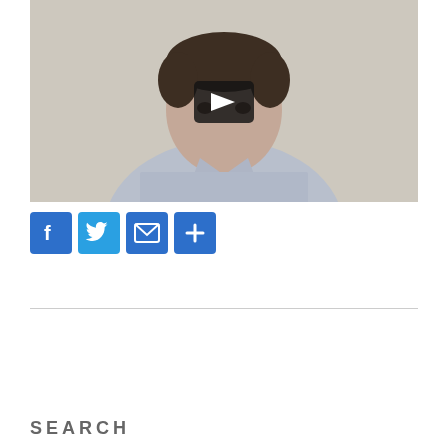[Figure (screenshot): Video thumbnail showing a man in a light blue button-down shirt against a beige/cream background, with a dark play button overlay in the center]
[Figure (infographic): Social sharing icons row: Facebook (blue F), Twitter (blue bird), Email (blue envelope), Share/Plus (blue plus sign)]
Page 1
SEARCH